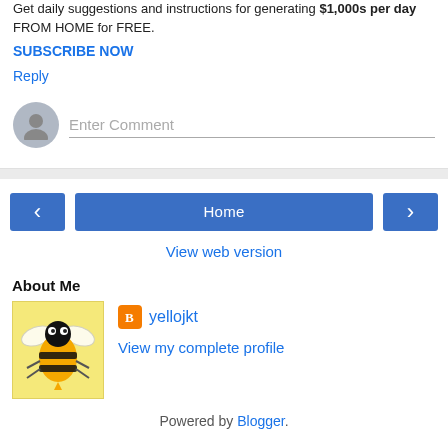Get daily suggestions and instructions for generating $1,000s per day FROM HOME for FREE. SUBSCRIBE NOW
Reply
Enter Comment
Home
View web version
About Me
[Figure (illustration): Yellow jacket bee mascot illustration on yellow background]
yellojkt
View my complete profile
Powered by Blogger.